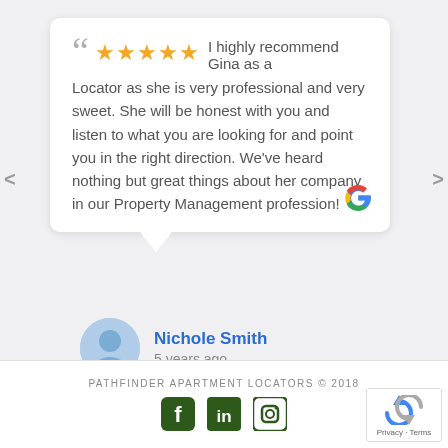I highly recommend Gina as a Locator as she is very professional and very sweet. She will be honest with you and listen to what you are looking for and point you in the right direction. We've heard nothing but great things about her company in our Property Management profession!
Nichole Smith
5 years ago
PATHFINDER APARTMENT LOCATORS © 2018